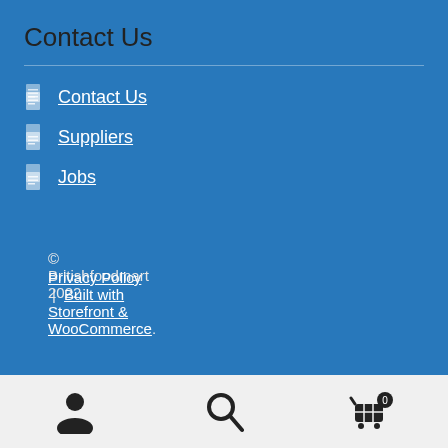Contact Us
Contact Us
Suppliers
Jobs
© Britishfoodmart 2022
Privacy Policy | Built with Storefront & WooCommerce.